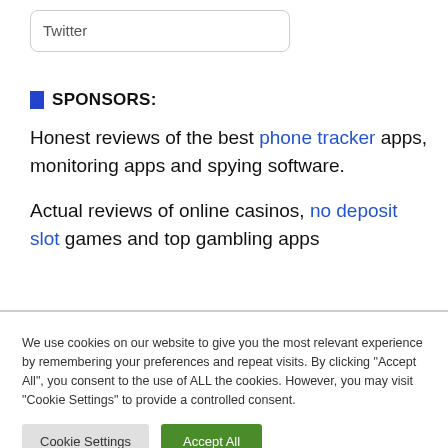Twitter
SPONSORS:
Honest reviews of the best phone tracker apps, monitoring apps and spying software.
Actual reviews of online casinos, no deposit slot games and top gambling apps
We use cookies on our website to give you the most relevant experience by remembering your preferences and repeat visits. By clicking "Accept All", you consent to the use of ALL the cookies. However, you may visit "Cookie Settings" to provide a controlled consent.